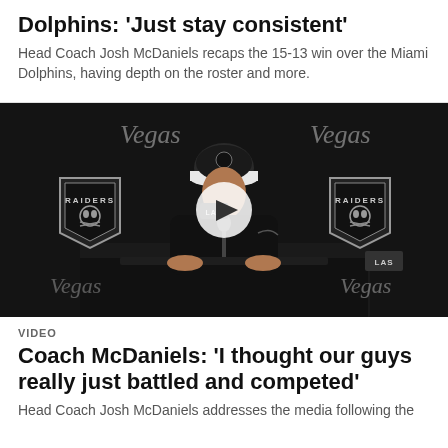Dolphins: 'Just stay consistent'
Head Coach Josh McDaniels recaps the 15-13 win over the Miami Dolphins, having depth on the roster and more.
[Figure (photo): Press conference video thumbnail showing Head Coach Josh McDaniels at a podium with Raiders branding in the background and a play button overlay. Las Vegas Raiders logos visible on backdrop.]
VIDEO
Coach McDaniels: 'I thought our guys really just battled and competed'
Head Coach Josh McDaniels addresses the media following the